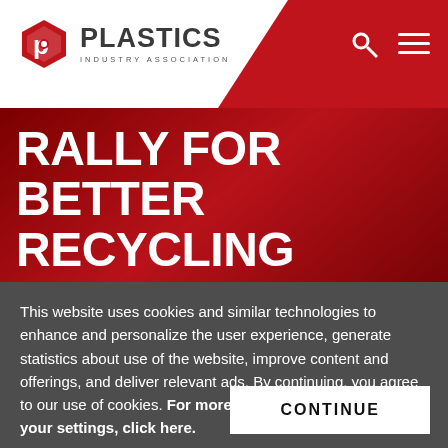[Figure (logo): Plastics Industry Association logo with red hexagon P icon and bold PLASTICS wordmark with INDUSTRY ASSOCIATION subtitle]
RALLY FOR BETTER RECYCLING INFRASTRUCTURE PRIORITIES ON THE HILL
This website uses cookies and similar technologies to enhance and personalize the user experience, generate statistics about use of the website, improve content and offerings, and deliver relevant ads. By continuing, you agree to our use of cookies. For more information or to change your settings, click here.